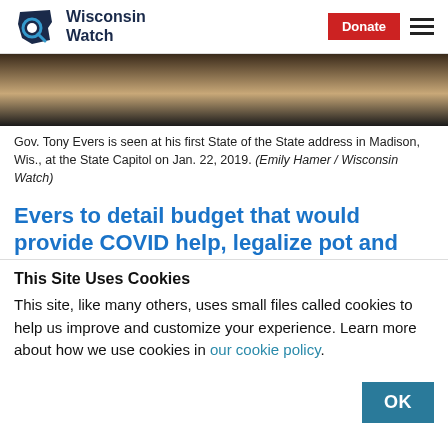Wisconsin Watch | Donate
[Figure (photo): Partial view of Gov. Tony Evers at his first State of the State address, showing dark background with a tan/brown figure]
Gov. Tony Evers is seen at his first State of the State address in Madison, Wis., at the State Capitol on Jan. 22, 2019. (Emily Hamer / Wisconsin Watch)
Evers to detail budget that would provide COVID help, legalize pot and
This Site Uses Cookies
This site, like many others, uses small files called cookies to help us improve and customize your experience. Learn more about how we use cookies in our cookie policy.
OK